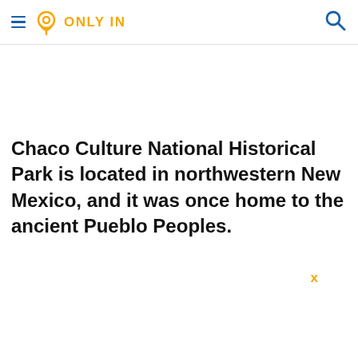ONLY IN
Chaco Culture National Historical Park is located in northwestern New Mexico, and it was once home to the ancient Pueblo Peoples.